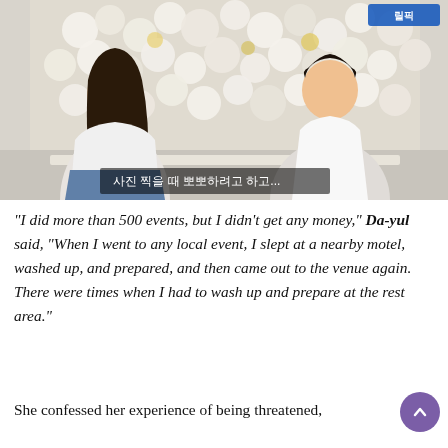[Figure (photo): Two people seated in front of a white flower wall backdrop. A young woman with long dark hair wearing a white turtleneck and jeans sits on the left. A man in a white dress shirt sits on the right. Korean subtitle text reads: 사진 찍을 때 뽀뽀하려고 하고... A channel logo appears in the top right corner.]
"I did more than 500 events, but I didn't get any money," Da-yul said, "When I went to any local event, I slept at a nearby motel, washed up, and prepared, and then came out to the venue again. There were times when I had to wash up and prepare at the rest area."
She confessed her experience of being threatened,